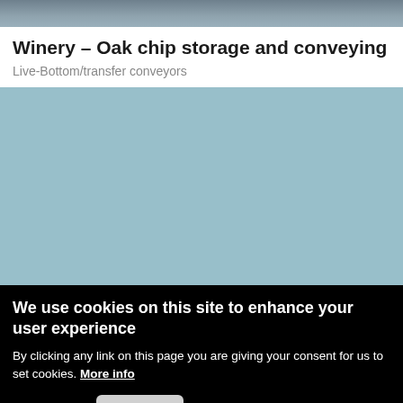[Figure (photo): Top portion of a photo showing outdoor equipment or winery setting, partially cropped]
Winery – Oak chip storage and conveying
Live-Bottom/transfer conveyors
[Figure (photo): Large image area showing winery oak chip storage and conveying equipment, rendered as light blue placeholder]
We use cookies on this site to enhance your user experience
By clicking any link on this page you are giving your consent for us to set cookies. More info
OK, I agree
Decline